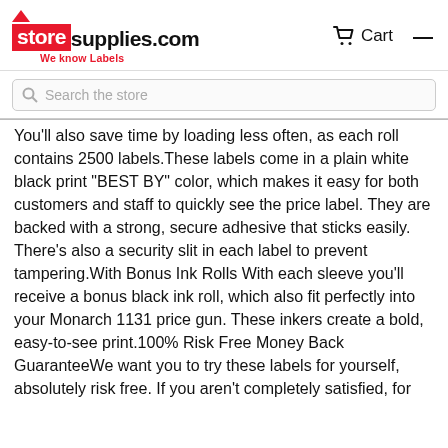storesupplies.com We know Labels | Cart | Menu
Search the store
You'll also save time by loading less often, as each roll contains 2500 labels.These labels come in a plain white black print "BEST BY" color, which makes it easy for both customers and staff to quickly see the price label. They are backed with a strong, secure adhesive that sticks easily. There's also a security slit in each label to prevent tampering.With Bonus Ink Rolls With each sleeve you'll receive a bonus black ink roll, which also fit perfectly into your Monarch 1131 price gun. These inkers create a bold, easy-to-see print.100% Risk Free Money Back GuaranteeWe want you to try these labels for yourself, absolutely risk free. If you aren't completely satisfied, for any reason at all, then we'll be more than happy to send you a replacement or give you a full refund. We're proud to offer unbeatable support to all of our customers, so just let us know if there's a problem and we'll immediately put it right – guaranteed.Start Marking Up Your Inventory Faster, Easier and Cheaper – Pick Up These Marking Labels Today *These labels